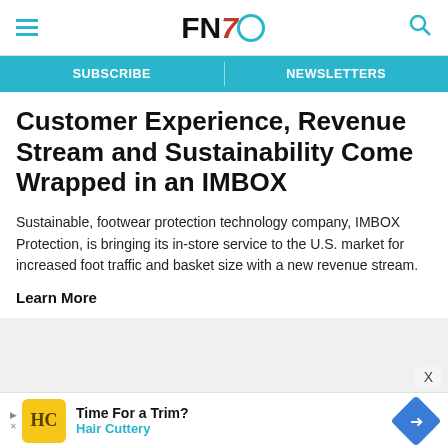FN7 [logo]
SUBSCRIBE | NEWSLETTERS
Customer Experience, Revenue Stream and Sustainability Come Wrapped in an IMBOX
Sustainable, footwear protection technology company, IMBOX Protection, is bringing its in-store service to the U.S. market for increased foot traffic and basket size with a new revenue stream.
Learn More
[Figure (screenshot): Advertisement for Hair Cuttery — Time For a Trim?]